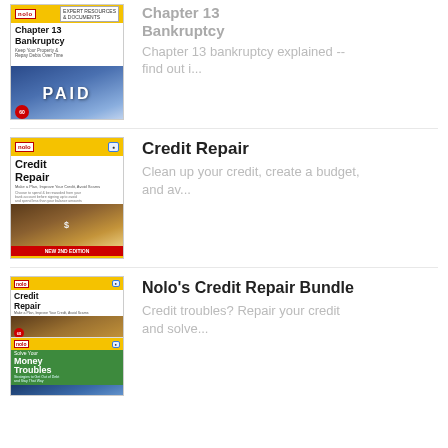[Figure (illustration): Book cover: Chapter 13 Bankruptcy by Nolo, showing 'PAID' stamp image]
Chapter 13 Bankruptcy
Chapter 13 bankruptcy explained -- find out i...
[Figure (illustration): Book cover: Credit Repair by Nolo, showing money/dollar bills image]
Credit Repair
Clean up your credit, create a budget, and av...
[Figure (illustration): Book cover bundle: Nolo's Credit Repair Bundle showing Credit Repair and Solve Your Money Troubles books]
Nolo's Credit Repair Bundle
Credit troubles? Repair your credit and solve...